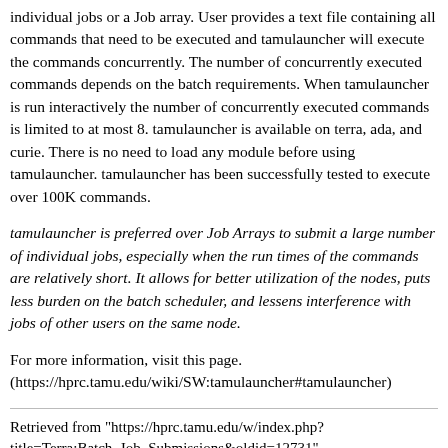individual jobs or a Job array. User provides a text file containing all commands that need to be executed and tamulauncher will execute the commands concurrently. The number of concurrently executed commands depends on the batch requirements. When tamulauncher is run interactively the number of concurrently executed commands is limited to at most 8. tamulauncher is available on terra, ada, and curie. There is no need to load any module before using tamulauncher. tamulauncher has been successfully tested to execute over 100K commands.
tamulauncher is preferred over Job Arrays to submit a large number of individual jobs, especially when the run times of the commands are relatively short. It allows for better utilization of the nodes, puts less burden on the batch scheduler, and lessens interference with jobs of other users on the same node.
For more information, visit this page. (https://hprc.tamu.edu/wiki/SW:tamulauncher#tamulauncher)
Retrieved from "https://hprc.tamu.edu/w/index.php?title=Terra:Batch_Job_Submissions&oldid=12731"